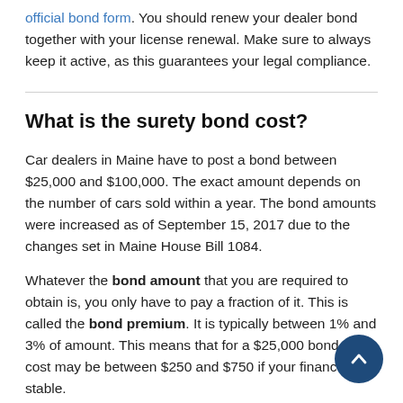official bond form. You should renew your dealer bond together with your license renewal. Make sure to always keep it active, as this guarantees your legal compliance.
What is the surety bond cost?
Car dealers in Maine have to post a bond between $25,000 and $100,000. The exact amount depends on the number of cars sold within a year. The bond amounts were increased as of September 15, 2017 due to the changes set in Maine House Bill 1084.
Whatever the bond amount that you are required to obtain is, you only have to pay a fraction of it. This is called the bond premium. It is typically between 1% and 3% of amount. This means that for a $25,000 bond, your cost may be between $250 and $750 if your finances are stable.
The surety that provides the bonding for you has to assess your overall financial and business situation. It considers your credit score, business documents, and liquidity or